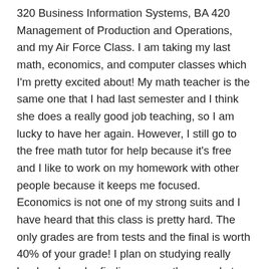320 Business Information Systems, BA 420 Management of Production and Operations, and my Air Force Class. I am taking my last math, economics, and computer classes which I'm pretty excited about! My math teacher is the same one that I had last semester and I think she does a really good job teaching, so I am lucky to have her again. However, I still go to the free math tutor for help because it's free and I like to work on my homework with other people because it keeps me focused. Economics is not one of my strong suits and I have heard that this class is pretty hard. The only grades are from tests and the final is worth 40% of your grade! I plan on studying really hard and maybe finding some other people to study with. Human Resources is a class I really like because it can apply to any job and the textbook is easy to understand. My Business Information Systems class is my last computer class and we don't even get to use the computer because it's more on understanding key functions of the computer rather than applications.